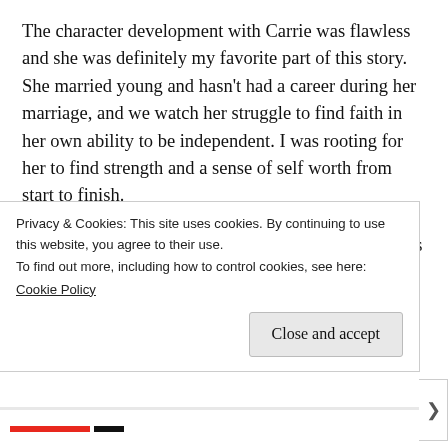The character development with Carrie was flawless and she was definitely my favorite part of this story. She married young and hasn't had a career during her marriage, and we watch her struggle to find faith in her own ability to be independent. I was rooting for her to find strength and a sense of self worth from start to finish.
Maybe I'm not equipped for short stories, because this definitely left me wanting more at
Privacy & Cookies: This site uses cookies. By continuing to use this website, you agree to their use.
To find out more, including how to control cookies, see here:
Cookie Policy
Close and accept